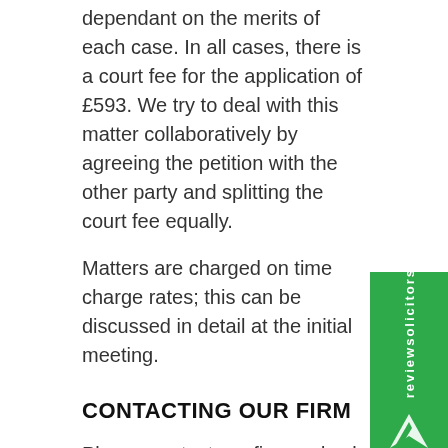dependant on the merits of each case. In all cases, there is a court fee for the application of £593. We try to deal with this matter collaboratively by agreeing the petition with the other party and splitting the court fee equally.
Matters are charged on time charge rates; this can be discussed in detail at the initial meeting.
CONTACTING OUR FIRM
Please contact our firm and ask to speak to our family law team for any enquiries by calling us on 020 8446 6223 or emailing enquiries@sr-law.co.uk
We have offices in Central London (at 32 Bloomsbury Street, WC1), North London (Finchley N3- close to the North Circular Road)
[Figure (logo): ReviewSolicitors green badge with logo and text]